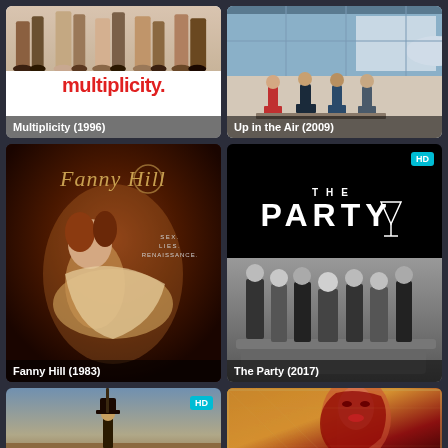[Figure (photo): Movie poster for Multiplicity (1996) showing legs of multiple people at top and red stylized title text]
Multiplicity (1996)
[Figure (photo): Movie poster for Up in the Air (2009) showing people sitting in an airport with an airplane in background]
Up in the Air (2009)
[Figure (photo): Movie poster for Fanny Hill (1983) showing a woman in vintage styling with italic script title and tagline SEX. LIES. RENAISSANCE.]
Fanny Hill (1983)
[Figure (photo): Movie poster for The Party (2017) with HD badge, black upper half with THE PARTY title and martini glass icon, lower half showing group of actors in black and white]
The Party (2017)
[Figure (photo): Partial movie poster (bottom of page, left) with HD badge showing a western-style figure with hat against a landscape]
[Figure (photo): Partial movie poster (bottom of page, right) showing a woman's face illustration against warm tones]